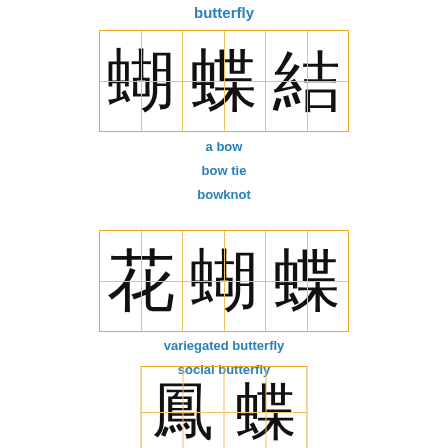butterfly
[Figure (illustration): Three Chinese characters 蝴蝶結 in a grid box with orange lines]
a bow
bow tie
bowknot
[Figure (illustration): Three Chinese characters 花蝴蝶 in a grid box with orange lines]
variegated butterfly
social butterfly
[Figure (illustration): Two Chinese characters 鳳蝶 in a grid box with orange lines]
papilio